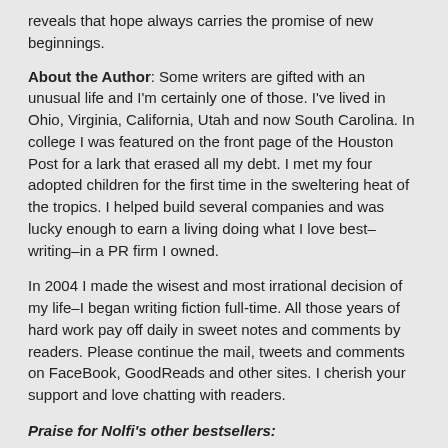reveals that hope always carries the promise of new beginnings.
About the Author: Some writers are gifted with an unusual life and I'm certainly one of those. I've lived in Ohio, Virginia, California, Utah and now South Carolina. In college I was featured on the front page of the Houston Post for a lark that erased all my debt. I met my four adopted children for the first time in the sweltering heat of the tropics. I helped build several companies and was lucky enough to earn a living doing what I love best–writing–in a PR firm I owned.
In 2004 I made the wisest and most irrational decision of my life–I began writing fiction full-time. All those years of hard work pay off daily in sweet notes and comments by readers. Please continue the mail, tweets and comments on FaceBook, GoodReads and other sites. I cherish your support and love chatting with readers.
Praise for Nolfi's other bestsellers:
Treasure Me:
"Sure to delight and entertain." –USA Today
Second Chance Grill: